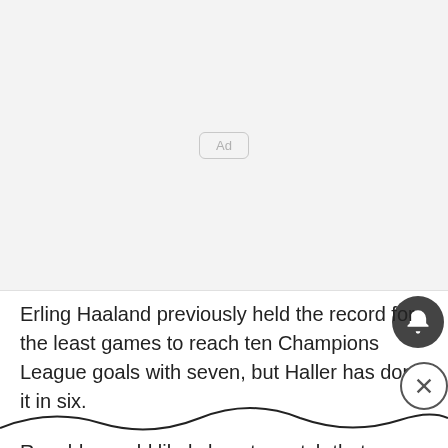[Figure (other): Advertisement placeholder area with 'Ad' label in a rounded rectangle]
Erling Haaland previously held the record for the least games to reach ten Champions League goals with seven, but Haller has done it in six.
Ronaldo would likely love to match that achievement